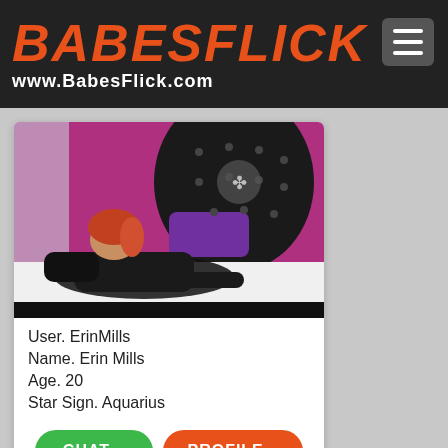BABESFLICK www.BabesFlick.com
[Figure (photo): A woman with red/auburn hair wearing a black latex outfit, lying on a white surface in front of tufted black and purple furniture in a room with magenta/purple walls.]
User. ErinMills
Name. Erin Mills
Age. 20
Star Sign. Aquarius
CHAT »   PROFILE »